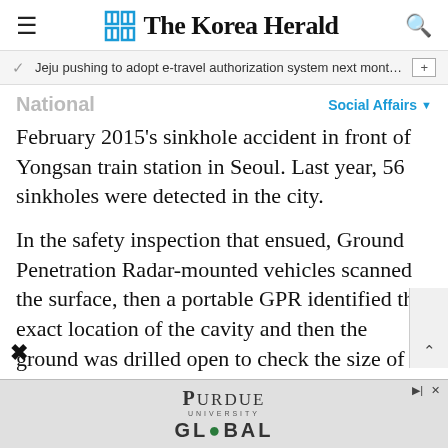The Korea Herald
Jeju pushing to adopt e-travel authorization system next month f…
National    Social Affairs
February 2015's sinkhole accident in front of Yongsan train station in Seoul. Last year, 56 sinkholes were detected in the city.
In the safety inspection that ensued, Ground Penetration Radar-mounted vehicles scanned the surface, then a portable GPR identified the exact location of the cavity and then the ground was drilled open to check the size of the hollow space beneath.
[Figure (logo): Purdue University Global advertisement banner]